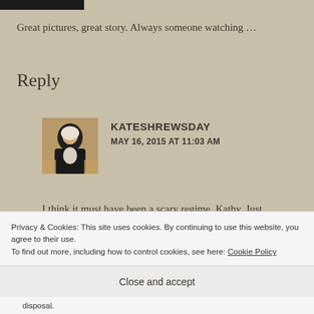[Figure (photo): Partial black bar at top, likely cropped image thumbnail]
Great pictures, great story. Always someone watching …
Reply
[Figure (photo): Small avatar image of a medieval saint painting (woman in black and white habit)]
KATESHREWSDAY
MAY 16, 2015 AT 11:03 AM
I think it must have been a scary regime, Kathy. Just contemplating a post about one of the portraits in
Privacy & Cookies: This site uses cookies. By continuing to use this website, you agree to their use.
To find out more, including how to control cookies, see here: Cookie Policy
Close and accept
disposal.